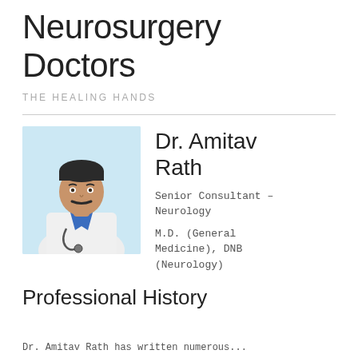Neurosurgery Doctors
THE HEALING HANDS
Dr. Amitav Rath
[Figure (photo): Portrait photo of Dr. Amitav Rath, a man in a white doctor's coat with a stethoscope, against a light blue background]
Senior Consultant – Neurology
M.D. (General Medicine), DNB (Neurology)
Professional History
Dr. Amitav Rath has written numerous...